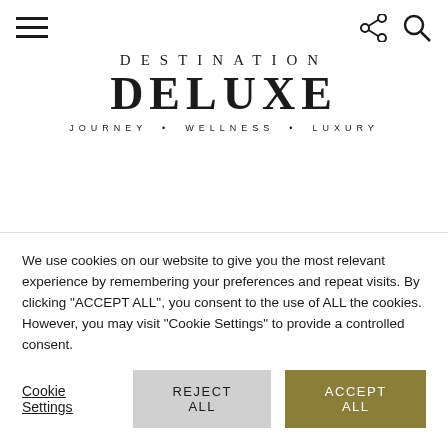Navigation bar with hamburger menu, share icon, and search icon
DESTINATION DELUXE
JOURNEY • WELLNESS • LUXURY
Le Bristol Paris – Destination
We use cookies on our website to give you the most relevant experience by remembering your preferences and repeat visits. By clicking "ACCEPT ALL", you consent to the use of ALL the cookies. However, you may visit "Cookie Settings" to provide a controlled consent.
Cookie Settings | REJECT ALL | ACCEPT ALL